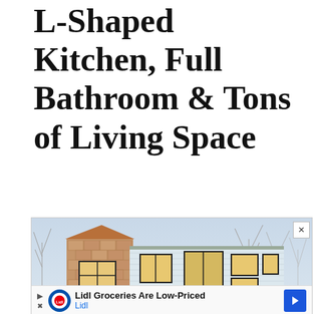L-Shaped Kitchen, Full Bathroom & Tons of Living Space
[Figure (photo): Exterior photo of a tiny house with cedar shingle siding on a tower section and white horizontal siding on the main body, multiple windows with dark frames, glass double doors, and bare winter trees in the background against a pale sky.]
Lidl Groceries Are Low-Priced - Lidl [Advertisement]